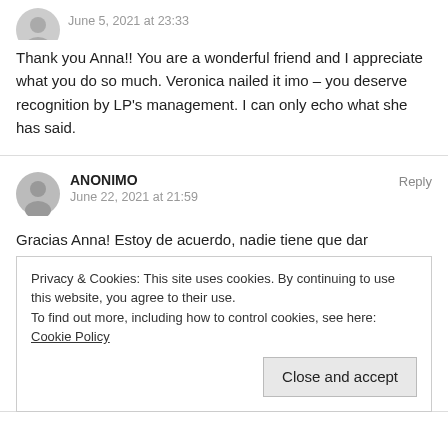June 5, 2021 at 23:33
Thank you Anna!! You are a wonderful friend and I appreciate what you do so much. Veronica nailed it imo – you deserve recognition by LP's management. I can only echo what she has said.
ANONIMO
June 22, 2021 at 21:59
Reply
Gracias Anna! Estoy de acuerdo, nadie tiene que dar explicaciones e su vida si no quiere, pero creo que con la cover de Save your tears LP lo explicó todo, me encanta su música y prefiero verla feliz,
Privacy & Cookies: This site uses cookies. By continuing to use this website, you agree to their use.
To find out more, including how to control cookies, see here: Cookie Policy
Close and accept